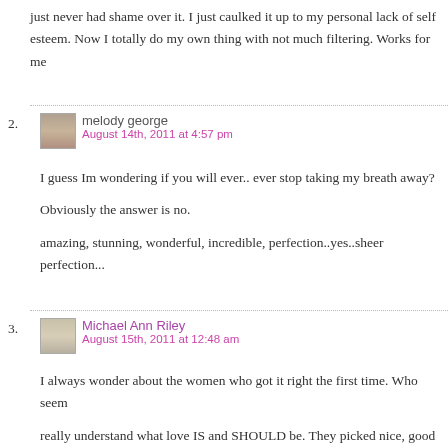just never had shame over it. I just caulked it up to my personal lack of self esteem. Now I totally do my own thing with not much filtering. Works for me
melody george
August 14th, 2011 at 4:57 pm

I guess Im wondering if you will ever.. ever stop taking my breath away?

Obviously the answer is no.

amazing, stunning, wonderful, incredible, perfection..yes..sheer perfection...
Michael Ann Riley
August 15th, 2011 at 12:48 am

I always wonder about the women who got it right the first time. Who seem really understand what love IS and SHOULD be. They picked nice, good me who adore them, and the women adore them back. I wonder how they were